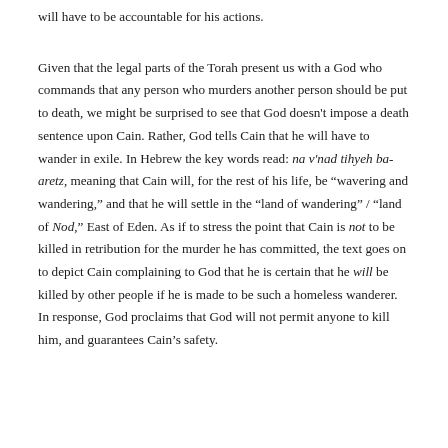will have to be accountable for his actions.
Given that the legal parts of the Torah present us with a God who commands that any person who murders another person should be put to death, we might be surprised to see that God doesn't impose a death sentence upon Cain. Rather, God tells Cain that he will have to wander in exile. In Hebrew the key words read: na v'nad tihyeh ba-aretz, meaning that Cain will, for the rest of his life, be "wavering and wandering," and that he will settle in the "land of wandering" / "land of Nod," East of Eden. As if to stress the point that Cain is not to be killed in retribution for the murder he has committed, the text goes on to depict Cain complaining to God that he is certain that he will be killed by other people if he is made to be such a homeless wanderer. In response, God proclaims that God will not permit anyone to kill him, and guarantees Cain's safety.